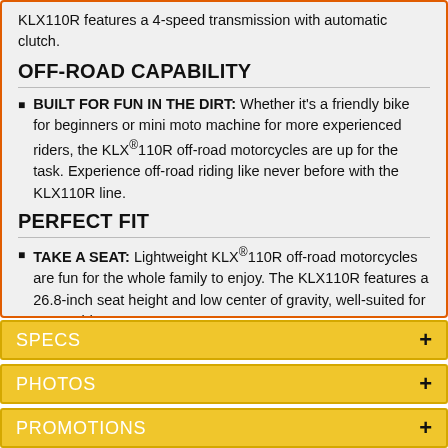KLX110R features a 4-speed transmission with automatic clutch.
OFF-ROAD CAPABILITY
BUILT FOR FUN IN THE DIRT: Whether it's a friendly bike for beginners or mini moto machine for more experienced riders, the KLX®110R off-road motorcycles are up for the task. Experience off-road riding like never before with the KLX110R line.
PERFECT FIT
TAKE A SEAT: Lightweight KLX®110R off-road motorcycles are fun for the whole family to enjoy. The KLX110R features a 26.8-inch seat height and low center of gravity, well-suited for young riders.
SPECS +
PHOTOS +
PROMOTIONS +